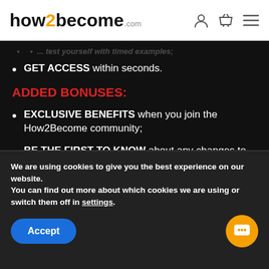how2become.com
GET ACCESS within seconds.
ADDED BONUSES:
EXCLUSIVE BENEFITS when you join the How2Become community;
BE THE FIRST TO KNOW about any changes to the tests;
We are using cookies to give you the best experience on our website. You can find out more about which cookies we are using or switch them off in settings. Accept